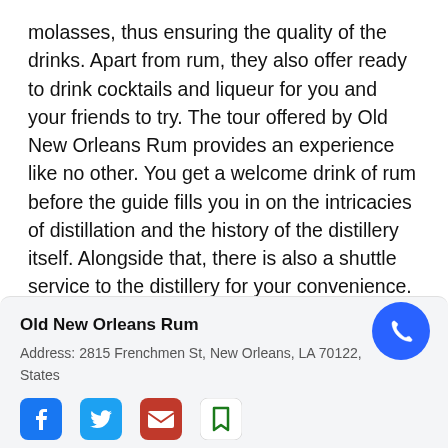molasses, thus ensuring the quality of the drinks. Apart from rum, they also offer ready to drink cocktails and liqueur for you and your friends to try. The tour offered by Old New Orleans Rum provides an experience like no other. You get a welcome drink of rum before the guide fills you in on the intricacies of distillation and the history of the distillery itself. Alongside that, there is also a shuttle service to the distillery for your convenience. With that, be sure to head down to Old New Orleans Rum when you're in the area.
Old New Orleans Rum
Address: 2815 Frenchmen St, New Orleans, LA 70122, States